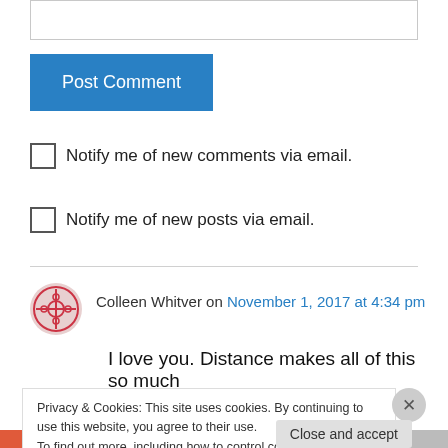[Figure (screenshot): Text input box at top of page]
Post Comment
Notify me of new comments via email.
Notify me of new posts via email.
Colleen Whitver on November 1, 2017 at 4:34 pm
I love you. Distance makes all of this so much
Privacy & Cookies: This site uses cookies. By continuing to use this website, you agree to their use.
To find out more, including how to control cookies, see here: Cookie Policy
Close and accept